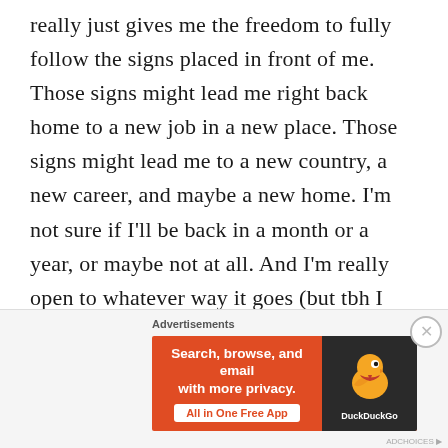really just gives me the freedom to fully follow the signs placed in front of me. Those signs might lead me right back home to a new job in a new place. Those signs might lead me to a new country, a new career, and maybe a new home. I'm not sure if I'll be back in a month or a year, or maybe not at all. And I'm really open to whatever way it goes (but tbh I really hope it's not back here because #brr).  I don't have a timeline or any expectations of where this journey will take me, but I know I'm looking forward to experiencing it slowly and really savoring whatever each day offers to me, however hippy
[Figure (other): DuckDuckGo advertisement banner with orange background. Text reads 'Search, browse, and email with more privacy. All in One Free App'. Duck logo on dark right panel with 'DuckDuckGo' branding. Close button (X circle) to the right.]